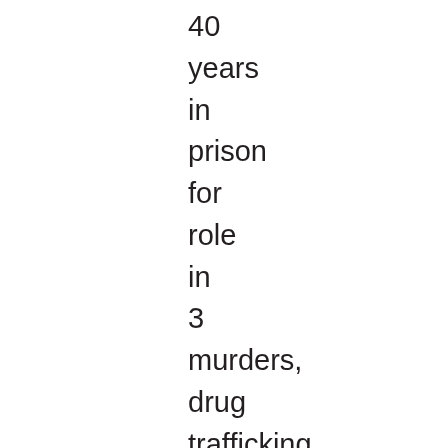40 years in prison for role in 3 murders, drug trafficking, extortion, money laundering, assault, U.S. Attorney Southern District of Ohio, 12-27-19.